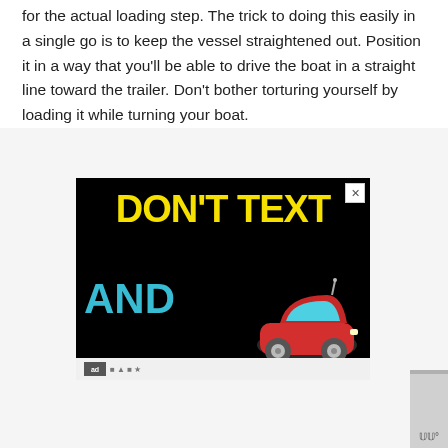for the actual loading step. The trick to doing this easily in a single go is to keep the vessel straightened out. Position it in a way that you'll be able to drive the boat in a straight line toward the trailer. Don't bother torturing yourself by loading it while turning your boat.
[Figure (other): Advertisement banner on black background reading 'DON'T TEXT AND' in yellow and cyan bold text with a red cartoon car emoji. Contains an X close button in the top right and an ad label bar at the bottom.]